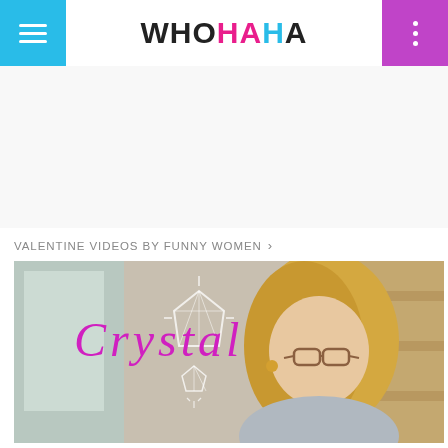WHOHAHA navigation bar
VALENTINE VIDEOS BY FUNNY WOMEN >
[Figure (screenshot): Video thumbnail showing a blonde woman with glasses looking at a phone, with the word 'Crystal' in magenta script and a crystal gemstone illustration overlaid on the image]